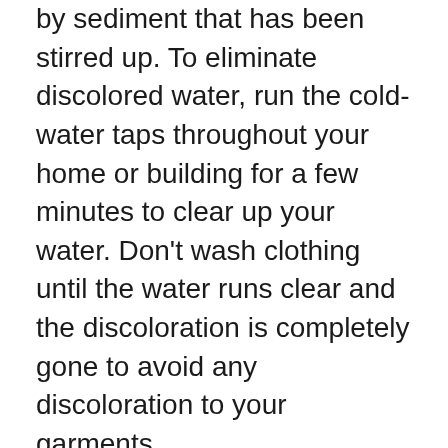by sediment that has been stirred up. To eliminate discolored water, run the cold-water taps throughout your home or building for a few minutes to clear up your water. Don't wash clothing until the water runs clear and the discoloration is completely gone to avoid any discoloration to your garments.
Some may think hydrant flushing wastes water – we understand it may look that way when the process is observed. In actuality, hydrant flushing is essential to keeping Hoosier communities safe. The process works by running water through the mains at a much higher than normal velocity, scouring out sediments that may have built up on the inside